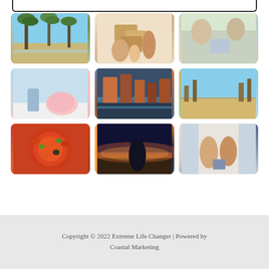[Figure (photo): Beach with palm trees and sandy shore]
[Figure (photo): Family with moving boxes]
[Figure (photo): Elderly couple looking at tablet]
[Figure (photo): Person putting coin in piggy bank]
[Figure (photo): City canal with colorful buildings at dusk]
[Figure (photo): Beach with sea oats and ocean]
[Figure (photo): Pizza with toppings]
[Figure (photo): Silhouette of fisherman at sunset]
[Figure (photo): Couple holding a small house model]
Copyright © 2022 Extreme Life Changer | Powered by Coastal Marketing